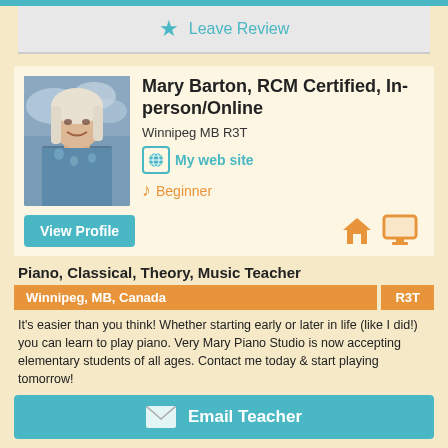[Figure (other): Teal top navigation bar]
★ Leave Review
[Figure (photo): Portrait photo of Mary Barton, an elderly woman with white/blonde hair, smiling, wearing a blue floral top]
Mary Barton, RCM Certified, In-person/Online
Winnipeg MB R3T
🌐 My web site
♪ Beginner
View Profile
[Figure (other): Home icon and monitor/desktop icon in orange]
Piano, Classical, Theory, Music Teacher
Winnipeg, MB, Canada   R3T
It's easier than you think! Whether starting early or later in life (like I did!) you can learn to play piano. Very Mary Piano Studio is now accepting elementary students of all ages. Contact me today & start playing tomorrow!
✉ Email Teacher
★